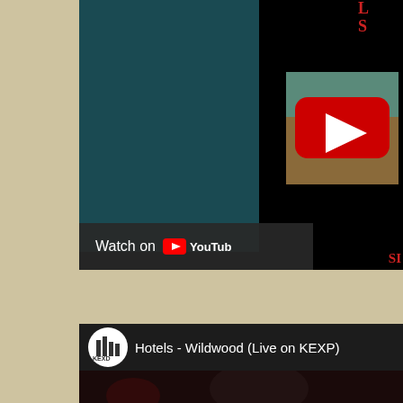[Figure (screenshot): YouTube video embed screenshot showing a dark video player with teal block on left, a video thumbnail with red YouTube play button in center-right, and 'Watch on YouTube' button at bottom left. Red text partial letters visible at top and bottom right.]
[Figure (screenshot): YouTube video player screenshot showing KEXP logo and title 'Hotels - Wildwood (Live on KEXP)' in the header bar, with dark video frame below showing a musician's face.]